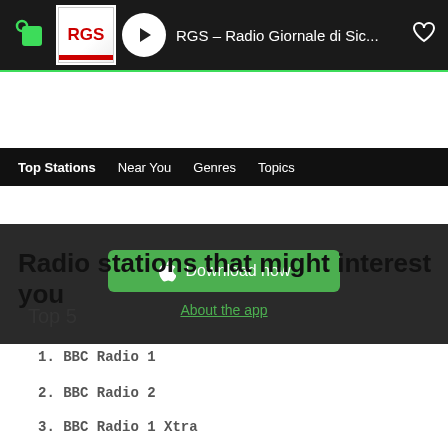[Figure (screenshot): Top navigation bar of a radio streaming app showing RGS Radio Giornale di Sic... station playing, with logo, play button, station name, and heart icon]
Top Stations  Near You  Genres  Topics
[Figure (screenshot): App download banner with green Download now button (Apple icon) and 'About the app' link]
Radio stations that might interest you
Top 5
1. BBC Radio 1
2. BBC Radio 2
3. BBC Radio 1 Xtra